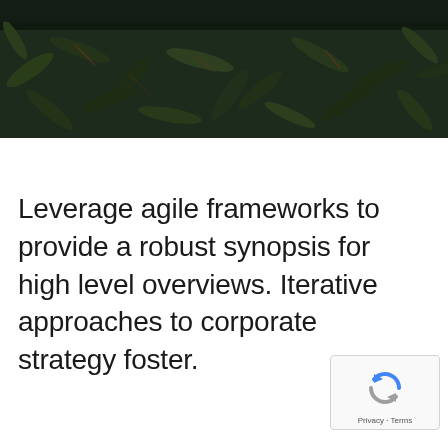[Figure (photo): Dark green foliage/leaves background image spanning the top portion of the page]
Leverage agile frameworks to provide a robust synopsis for high level overviews. Iterative approaches to corporate strategy foster.
[Figure (logo): reCAPTCHA badge with circular arrows logo icon and Privacy · Terms text]